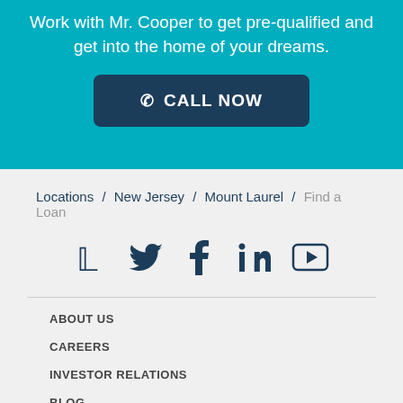Work with Mr. Cooper to get pre-qualified and get into the home of your dreams.
CALL NOW
Locations / New Jersey / Mount Laurel / Find a Loan
[Figure (infographic): Social media icons: Twitter, Facebook, LinkedIn, YouTube]
ABOUT US
CAREERS
INVESTOR RELATIONS
BLOG